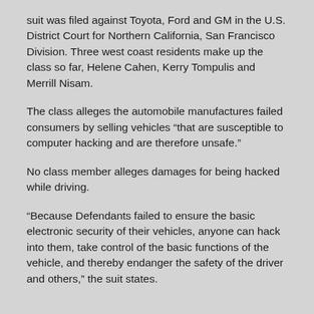suit was filed against Toyota, Ford and GM in the U.S. District Court for Northern California, San Francisco Division. Three west coast residents make up the class so far, Helene Cahen, Kerry Tompulis and Merrill Nisam.
The class alleges the automobile manufactures failed consumers by selling vehicles “that are susceptible to computer hacking and are therefore unsafe.”
No class member alleges damages for being hacked while driving.
“Because Defendants failed to ensure the basic electronic security of their vehicles, anyone can hack into them, take control of the basic functions of the vehicle, and thereby endanger the safety of the driver and others,” the suit states.